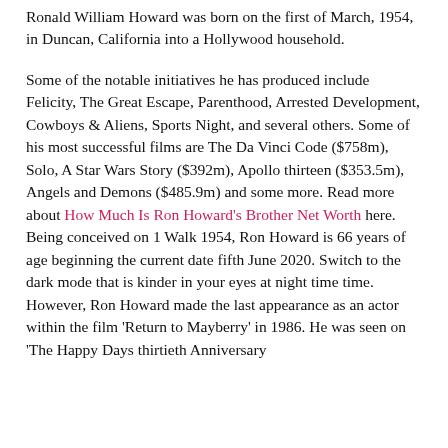Ronald William Howard was born on the first of March, 1954, in Duncan, California into a Hollywood household.
Some of the notable initiatives he has produced include Felicity, The Great Escape, Parenthood, Arrested Development, Cowboys & Aliens, Sports Night, and several others. Some of his most successful films are The Da Vinci Code ($758m), Solo, A Star Wars Story ($392m), Apollo thirteen ($353.5m), Angels and Demons ($485.9m) and some more. Read more about How Much Is Ron Howard's Brother Net Worth here. Being conceived on 1 Walk 1954, Ron Howard is 66 years of age beginning the current date fifth June 2020. Switch to the dark mode that is kinder in your eyes at night time time. However, Ron Howard made the last appearance as an actor within the film 'Return to Mayberry' in 1986. He was seen on 'The Happy Days thirtieth Anniversary